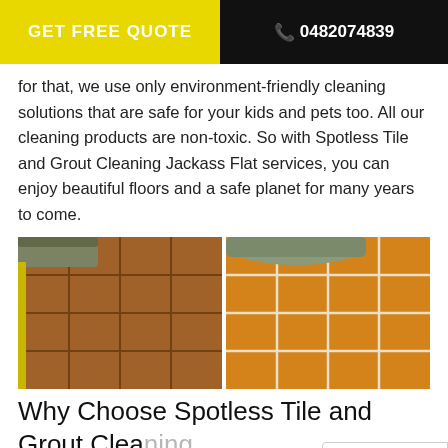GET FREE QUOTE   📞 0482074839
for that, we use only environment-friendly cleaning solutions that are safe for your kids and pets too. All our cleaning products are non-toxic. So with Spotless Tile and Grout Cleaning Jackass Flat services, you can enjoy beautiful floors and a safe planet for many years to come.
[Figure (photo): Before and after comparison of terracotta tile floor cleaning. Left image shows dull, dirty tiles with dark grout lines. Right image shows clean, bright tiles with white grout lines after cleaning.]
Why Choose Spotless Tile and Grout Cleaning Jackass Flat?
[Figure (photo): Bottom row of tile cleaning images, partially visible.]